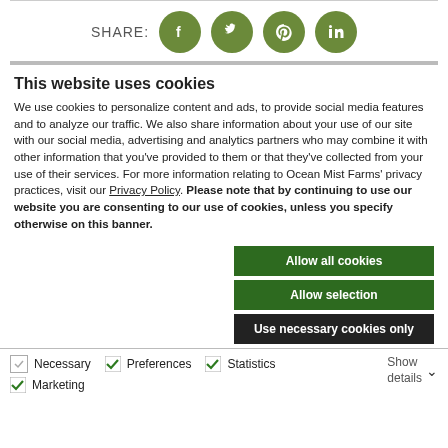[Figure (infographic): SHARE row with social media icons: Facebook, Twitter, Pinterest, LinkedIn — all in olive/green circles]
This website uses cookies
We use cookies to personalize content and ads, to provide social media features and to analyze our traffic. We also share information about your use of our site with our social media, advertising and analytics partners who may combine it with other information that you've provided to them or that they've collected from your use of their services. For more information relating to Ocean Mist Farms' privacy practices, visit our Privacy Policy. Please note that by continuing to use our website you are consenting to our use of cookies, unless you specify otherwise on this banner.
Allow all cookies
Allow selection
Use necessary cookies only
Necessary  Preferences  Statistics  Marketing  Show details